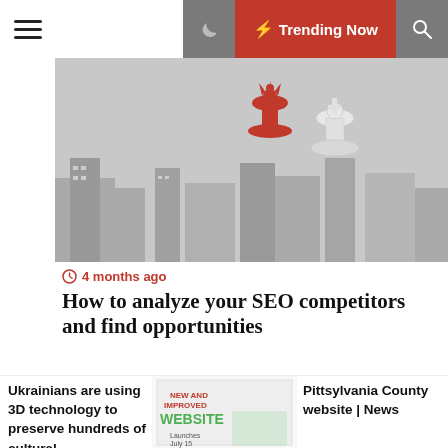☰  🌙  ⚡ Trending Now  🔍
[Figure (photo): Gray-scale and partial color photo of red and white chess pieces (queen and king) with blurred city skyline in background]
⏱ 4 months ago
How to analyze your SEO competitors and find opportunities
[Figure (infographic): SEJ ebook ad: 9 Types of Content That Will Help Your Local SEO, by Anna Crowe (SEO Strategist, Help Anna Branding), with Local SEO book cover illustration]
Ukrainians are using 3D technology to preserve hundreds of cultural...
[Figure (screenshot): New and Improved Website launch ad thumbnail]
Pittsylvania County website | News